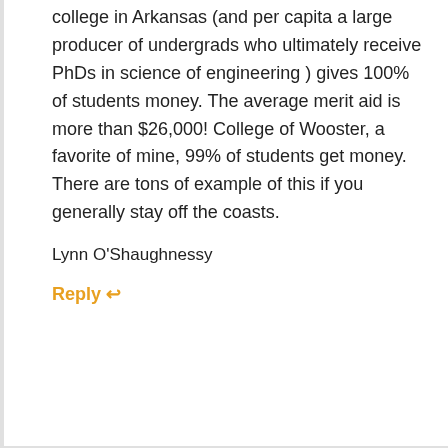college in Arkansas (and per capita a large producer of undergrads who ultimately receive PhDs in science of engineering ) gives 100% of students money. The average merit aid is more than $26,000! College of Wooster, a favorite of mine, 99% of students get money. There are tons of example of this if you generally stay off the coasts.
Lynn O'Shaughnessy
Reply ↩